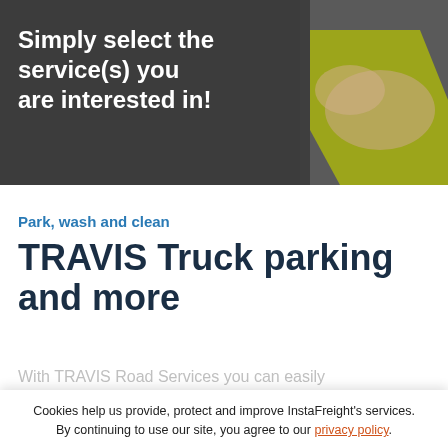[Figure (photo): Background photo of a person in a yellow high-visibility vest with arms crossed, with white bold text overlay reading 'Simply select the service(s) you are interested in!']
Simply select the service(s) you are interested in!
Park, wash and clean
TRAVIS Truck parking and more
With TRAVIS Road Services you can easily
Cookies help us provide, protect and improve InstaFreight's services. By continuing to use our site, you agree to our privacy policy.
ok
downtime! TRAVIS provides you with easy solutions